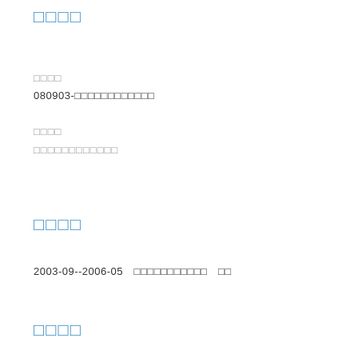□□□□
□□□□
080903-□□□□□□□□□□□□
□□□□
□□□□□□□□□□□□
□□□□
2003-09--2006-05　□□□□□□□□□□□　□□
□□□□